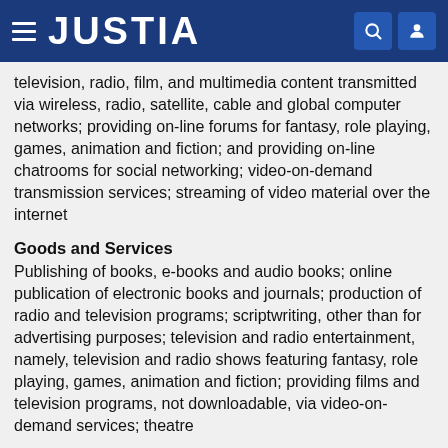JUSTIA
television, radio, film, and multimedia content transmitted via wireless, radio, satellite, cable and global computer networks; providing on-line forums for fantasy, role playing, games, animation and fiction; and providing on-line chatrooms for social networking; video-on-demand transmission services; streaming of video material over the internet
Goods and Services
Publishing of books, e-books and audio books; online publication of electronic books and journals; production of radio and television programs; scriptwriting, other than for advertising purposes; television and radio entertainment, namely, television and radio shows featuring fantasy, role playing, games, animation and fiction; providing films and television programs, not downloadable, via video-on-demand services; theatre